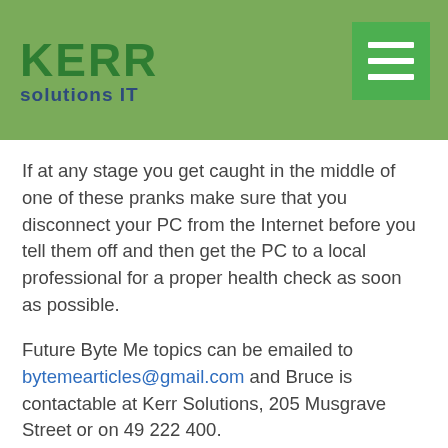[Figure (logo): Kerr Solutions IT logo with green text on olive-green header background, plus hamburger menu icon in bright green square on the right]
If at any stage you get caught in the middle of one of these pranks make sure that you disconnect your PC from the Internet before you tell them off and then get the PC to a local professional for a proper health check as soon as possible.
Future Byte Me topics can be emailed to bytemearticles@gmail.com and Bruce is contactable at Kerr Solutions, 205 Musgrave Street or on 49 222 400.
For more advice and assistance from Kerr